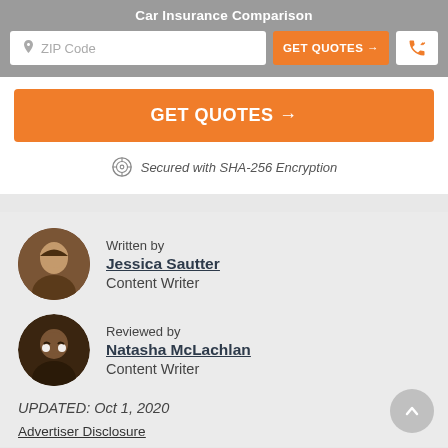Car Insurance Comparison
[Figure (screenshot): Navigation bar with ZIP Code input, orange GET QUOTES button, and phone icon button]
[Figure (screenshot): Large orange GET QUOTES button]
Secured with SHA-256 Encryption
Written by
Jessica Sautter
Content Writer
Reviewed by
Natasha McLachlan
Content Writer
UPDATED: Oct 1, 2020
Advertiser Disclosure